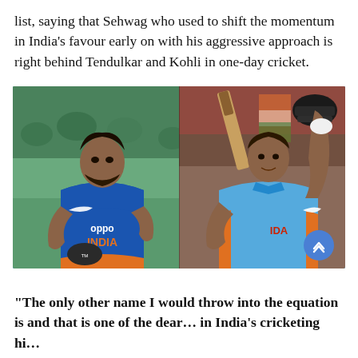list, saying that Sehwag who used to shift the momentum in India's favour early on with his aggressive approach is right behind Tendulkar and Kohli in one-day cricket.
[Figure (photo): Two cricketers in Indian blue jerseys side by side. Left: Virat Kohli in an Oppo-sponsored India ODI kit carrying a helmet. Right: Sachin Tendulkar in an older India ODI kit raising his bat after scoring a century.]
“The only other name I would throw into the equation is and that is one of the dear… in India’s cricketing hi…